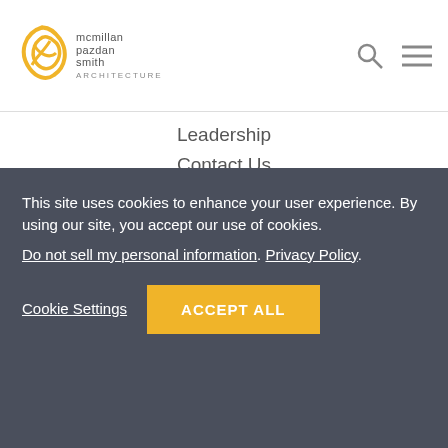mcmillan pazdan smith ARCHITECTURE
Leadership
Contact Us
PROJECTS
Community
Healthcare
Higher Education
Hotel
Housing + Mixed-Use
Industrial
This site uses cookies to enhance your user experience. By using our site, you accept our use of cookies. Do not sell my personal information. Privacy Policy.
Cookie Settings  ACCEPT ALL